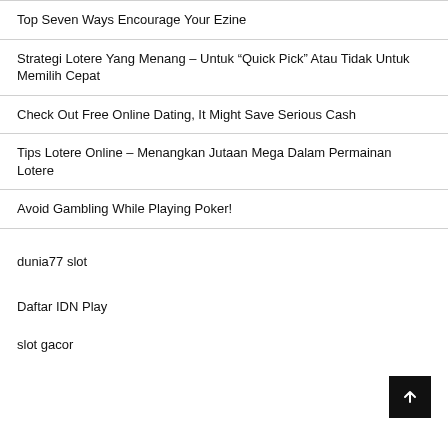Top Seven Ways Encourage Your Ezine
Strategi Lotere Yang Menang – Untuk “Quick Pick” Atau Tidak Untuk Memilih Cepat
Check Out Free Online Dating, It Might Save Serious Cash
Tips Lotere Online – Menangkan Jutaan Mega Dalam Permainan Lotere
Avoid Gambling While Playing Poker!
dunia77 slot
Daftar IDN Play
slot gacor